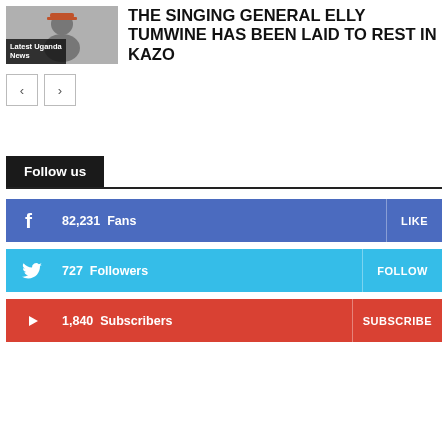[Figure (photo): Thumbnail photo of Elly Tumwine in military uniform with a 'Latest Uganda News' label overlay]
THE SINGING GENERAL ELLY TUMWINE HAS BEEN LAID TO REST IN KAZO
[Figure (other): Navigation previous/next arrow buttons]
Follow us
82,231  Fans   LIKE
727  Followers   FOLLOW
1,840  Subscribers   SUBSCRIBE